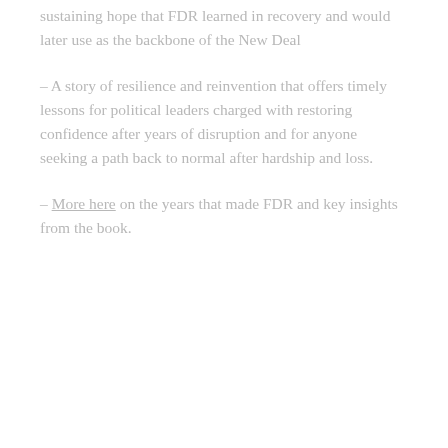sustaining hope that FDR learned in recovery and would later use as the backbone of the New Deal
– A story of resilience and reinvention that offers timely lessons for political leaders charged with restoring confidence after years of disruption and for anyone seeking a path back to normal after hardship and loss.
– More here on the years that made FDR and key insights from the book.